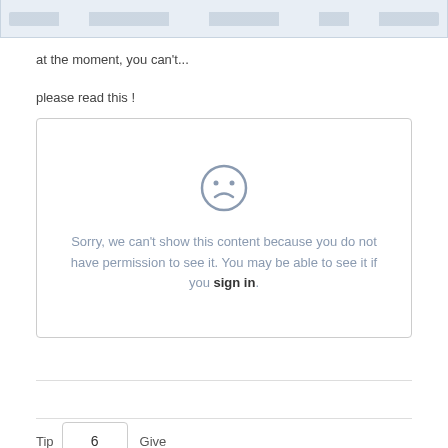[Figure (screenshot): Partial table header row with column headers, light blue/grey background]
at the moment, you can't...
please read this !
[Figure (infographic): Sorry box with sad face icon and text: Sorry, we can't show this content because you do not have permission to see it. You may be able to see it if you sign in.]
Tip  6  Give